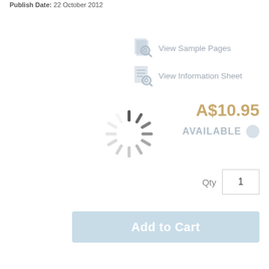Publish Date: 22 October 2012
View Sample Pages
View Information Sheet
A$10.95
AVAILABLE
[Figure (other): Loading spinner (animated circle of dashes)]
Qty 1
Add to Cart